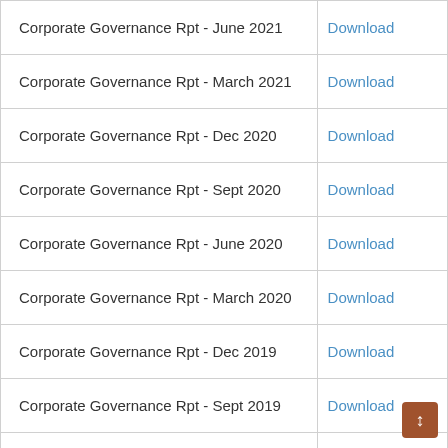| Document Name | Action |
| --- | --- |
| Corporate Governance Rpt - June 2021 | Download |
| Corporate Governance Rpt - March 2021 | Download |
| Corporate Governance Rpt - Dec 2020 | Download |
| Corporate Governance Rpt - Sept 2020 | Download |
| Corporate Governance Rpt - June 2020 | Download |
| Corporate Governance Rpt - March 2020 | Download |
| Corporate Governance Rpt - Dec 2019 | Download |
| Corporate Governance Rpt - Sept 2019 | Download |
| Corporate Governance Rpt - June 2019 | Download |
| Corporate Governance Rpt - March 2019 | Download |
| Corporate Governance Rpt - Dec 2018 | Download |
| Corporate Governance Rpt - Sept 2018 | Download |